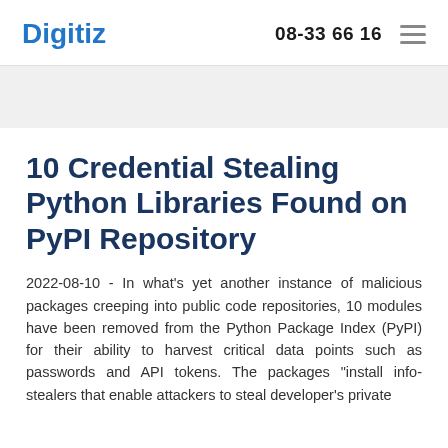Digitiz  08-33 66 16
10 Credential Stealing Python Libraries Found on PyPI Repository
2022-08-10 - In what's yet another instance of malicious packages creeping into public code repositories, 10 modules have been removed from the Python Package Index (PyPI) for their ability to harvest critical data points such as passwords and API tokens. The packages "install info-stealers that enable attackers to steal developer's private